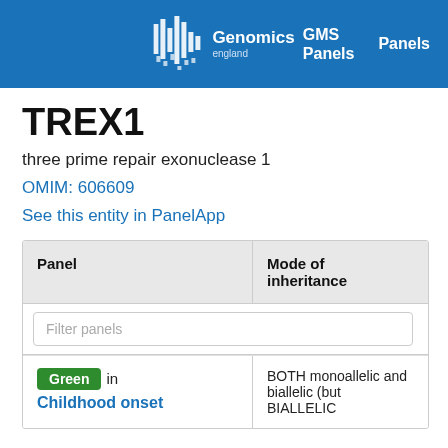Genomics England — GMS Panels — Panels
TREX1
three prime repair exonuclease 1
OMIM: 606609
See this entity in PanelApp
| Panel | Mode of inheritance |
| --- | --- |
| Green in Childhood onset ... | BOTH monoallelic and biallelic (but BIALLELIC |